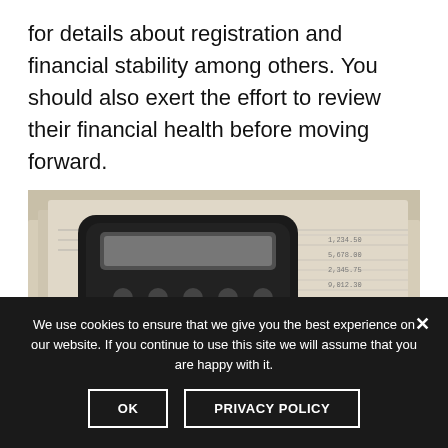for details about registration and financial stability among others. You should also exert the effort to review their financial health before moving forward.
[Figure (photo): A black calculator resting on top of printed financial documents/spreadsheets]
We use cookies to ensure that we give you the best experience on our website. If you continue to use this site we will assume that you are happy with it.